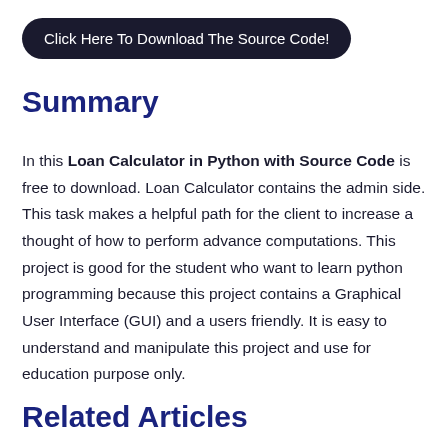[Figure (other): Black rounded rectangle button with white text: Click Here To Download The Source Code!]
Summary
In this Loan Calculator in Python with Source Code is free to download. Loan Calculator contains the admin side. This task makes a helpful path for the client to increase a thought of how to perform advance computations. This project is good for the student who want to learn python programming because this project contains a Graphical User Interface (GUI) and a users friendly. It is easy to understand and manipulate this project and use for education purpose only.
Related Articles